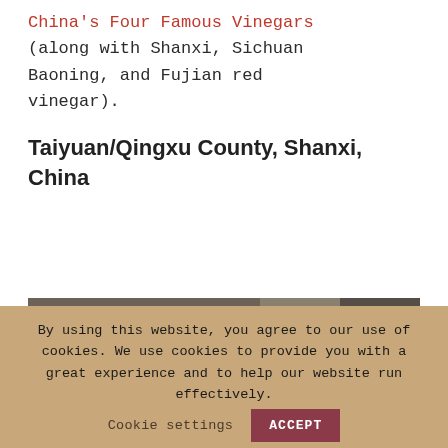China's Four Famous Vinegars (along with Shanxi, Sichuan Baoning, and Fujian red vinegar).
Taiyuan/Qingxu County, Shanxi, China
[Figure (photo): Street scene photo showing Chinese signage with red characters, storefronts, and urban buildings in the background.]
By using this website, you agree to our use of cookies. We use cookies to provide you with a great experience and to help our website run effectively.
Cookie settings
ACCEPT